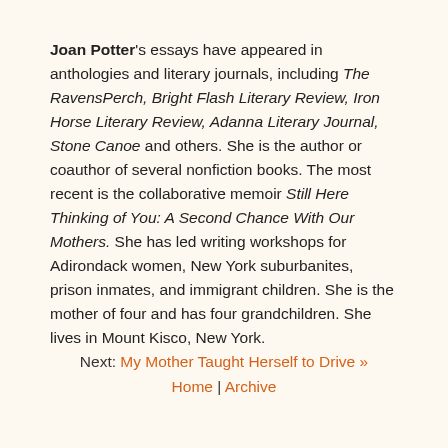Joan Potter's essays have appeared in anthologies and literary journals, including The RavensPerch, Bright Flash Literary Review, Iron Horse Literary Review, Adanna Literary Journal, Stone Canoe and others. She is the author or coauthor of several nonfiction books. The most recent is the collaborative memoir Still Here Thinking of You: A Second Chance With Our Mothers. She has led writing workshops for Adirondack women, New York suburbanites, prison inmates, and immigrant children. She is the mother of four and has four grandchildren. She lives in Mount Kisco, New York.
Next: My Mother Taught Herself to Drive » Home | Archive